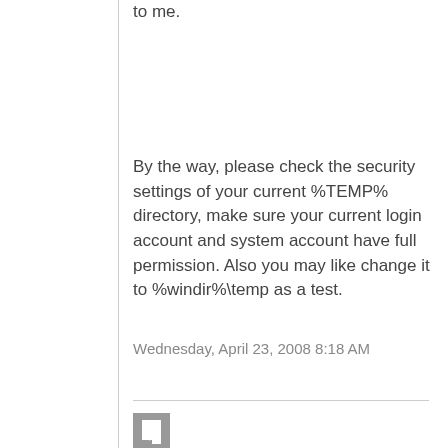to me.
By the way, please check the security settings of your current %TEMP% directory, make sure your current login account and system account have full permission. Also you may like change it to %windir%\temp as a test.
Wednesday, April 23, 2008 8:18 AM